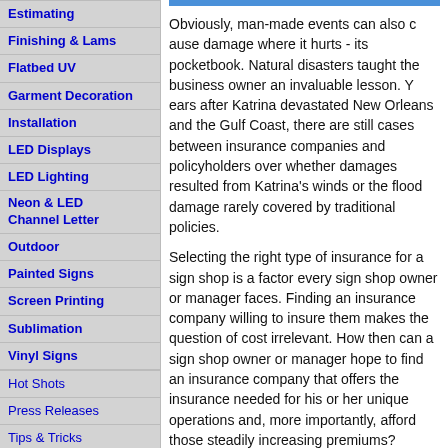Estimating
Finishing & Lams
Flatbed UV
Garment Decoration
Installation
LED Displays
LED Lighting
Neon & LED Channel Letter
Outdoor
Painted Signs
Screen Printing
Sublimation
Vinyl Signs
Hot Shots
Press Releases
Tips & Tricks
Industry Resources
Books
Event Calendar
Associations
Business Center
Obviously, man-made events can also cause damage where it hurts - its pocketbook. Natural disasters taught the business owner an invaluable lesson. Years after Katrina devastated New Orleans and the Gulf Coast, there are still cases between insurance companies and policyholders over whether damages resulted from Katrina's winds or the flood damage rarely covered by traditional policies.
Selecting the right type of insurance for a sign shop is a factor every sign shop owner or manager faces. Finding an insurance company willing to insure the business makes the question of cost irrelevant. How then can a sign shop owner or manager hope to find an insurance company that offers the insurance needed for his or her unique operations and, more importantly, afford those steadily increasing premiums?
Managing Risk
The first step in finding essential, available insurance is identifying the risks facing the sign business. The process involves:
1. Evaluating the sign operation's ex...
2. Developing a plan to help prevent...
3. Purchasing insurance to provide t...